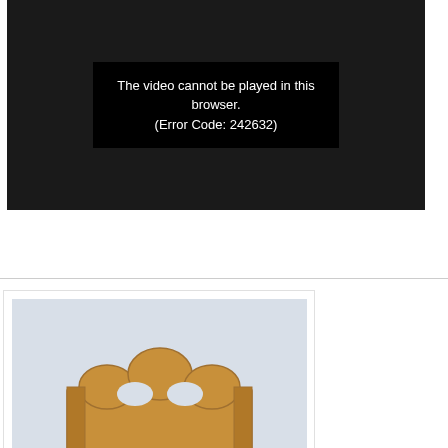[Figure (screenshot): Video player error screen showing black background with error message text: 'The video cannot be played in this browser. (Error Code: 242632)']
[Figure (photo): Photograph of a wooden doll cradle or baby cradle made of light pine wood, viewed from above at an angle, showing the interior of the box-like cradle with a decorative headboard with curved cutouts. The cradle sits on a wooden floor.]